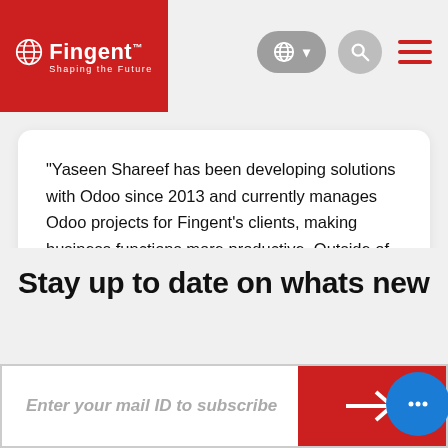[Figure (logo): Fingent logo with globe icon on red background, tagline 'Shaping the Future']
[Figure (screenshot): Navigation bar with language selector pill (globe icon), search circle button, and hamburger menu icon in red]
“Yaseen Shareef has been developing solutions with Odoo since 2013 and currently manages Odoo projects for Fingent’s clients, making business functions more productive. Outside of work, Yaseen enjoys vlogging, traveling and catching up on the latest action movies.”
Stay up to date on whats new
Enter your mail ID to subscribe